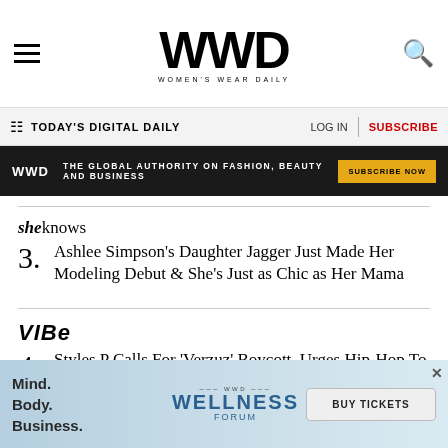WWD WOMEN'S WEAR DAILY
TODAY'S DIGITAL DAILY | LOG IN | SUBSCRIBE
WWD THE GLOBAL AUTHORITY ON FASHION, BEAUTY AND BUSINESS SUBSCRIBE NOW
3. sheknows — Ashlee Simpson's Daughter Jagger Just Made Her Modeling Debut & She's Just as Chic as Her Mama
4. VIBE — Styles P Calls For 'Verzuz' Boycott, Urges Hip-Hop To Join Him
YOU MAY ALSO LIKE
[Figure (infographic): WWD Wellness Forum advertisement banner with Mind. Body. Business. text and BUY TICKETS button]